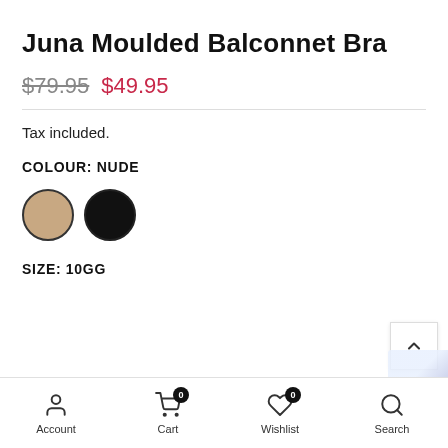Juna Moulded Balconnet Bra
$79.95 $49.95
Tax included.
COLOUR: NUDE
[Figure (illustration): Two colour swatches: nude/beige circle and black circle]
SIZE: 10GG
Account  Cart 0  Wishlist 0  Search